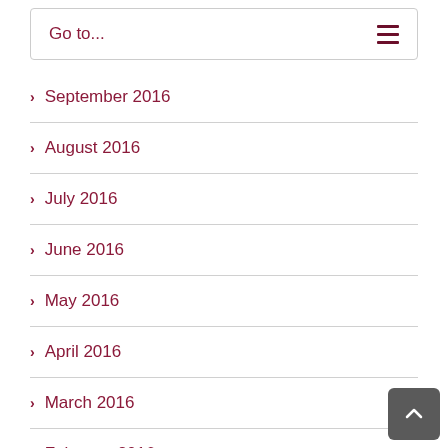Go to...
September 2016
August 2016
July 2016
June 2016
May 2016
April 2016
March 2016
February 2016